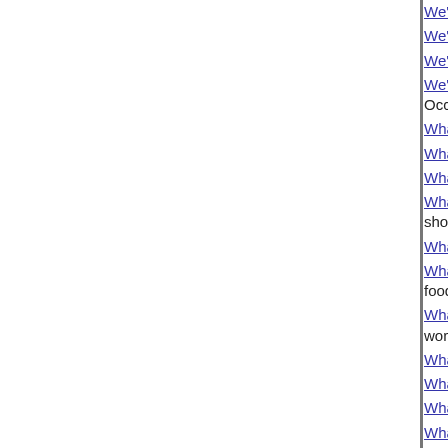We've Got To Take 'Em Out! (Poetry) - [140 w...]
We've Moved On (Songs) - [193 words]
We've Seen This Movie (Poetry) - [114 words]
We've Taken It Inside (Songs) We've Taken It... Occupy Movement. [222 words]
What A Terrorist Does (Poetry) - [94 words]
What About Planned Parenthood? (Poetry) - [...]
What Am I Supposed To Do? (Songs) - [168 w...]
What Am I To You? (Songs) What Am I To You... should be a mid-tempo song like Jennifer Hud...
What Are The Chances? (Songs) - [317 words]
What Are We Suppose To Do? (Songs) What... food we ingest? [260 words]
What Can I Do Or Say? (Songs) What Can I D... words]
What Can You Say? (Songs) - [145 words]
What Comes After? (The Joy And The Laughs...)
What Comes First? (Songs) - [141 words]
What Did He Know, And When Did He Know I...
What Do I Do (With This Tattoo?) (Songs) Wh... mid-tempo R&B ballad. [287 words]
What Do You See (When You Look At Me)? (S... the Maxwell/Robin Thicke mode. [281 words]
What Does Forever Mean To You? (Songs) - [...]
What Does He Believe In? (Songs) Need I as...
What Don'T Kill Ya Only Makes You Stronger... Stronger was inspired by country singer Min...